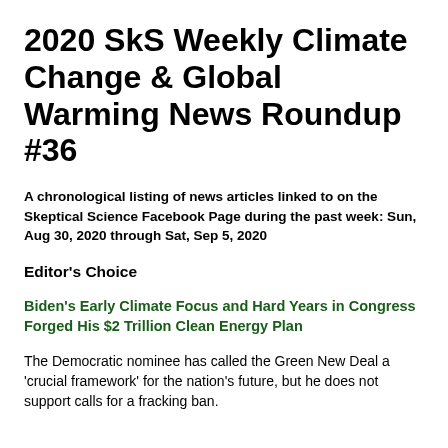2020 SkS Weekly Climate Change & Global Warming News Roundup #36
A chronological listing of news articles linked to on the Skeptical Science Facebook Page during the past week: Sun, Aug 30, 2020 through Sat, Sep 5, 2020
Editor's Choice
Biden's Early Climate Focus and Hard Years in Congress Forged His $2 Trillion Clean Energy Plan
The Democratic nominee has called the Green New Deal a 'crucial framework' for the nation's future, but he does not support calls for a fracking ban.